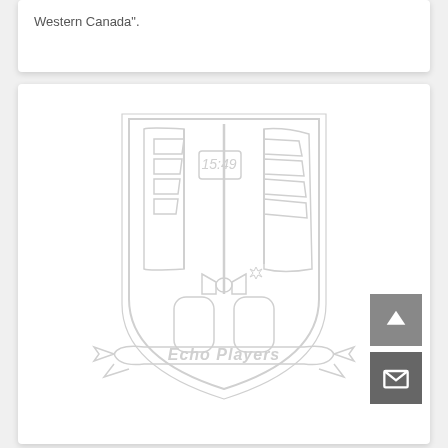Western Canada".
[Figure (logo): Echo Players logo: a shield/crest design with two flags crossed, featuring '15:49' text, a bow tie/ribbon element, two door/panel shapes at the bottom, and a banner ribbon at the bottom reading 'Echo Players'. The logo is rendered in light gray outline style on white background.]